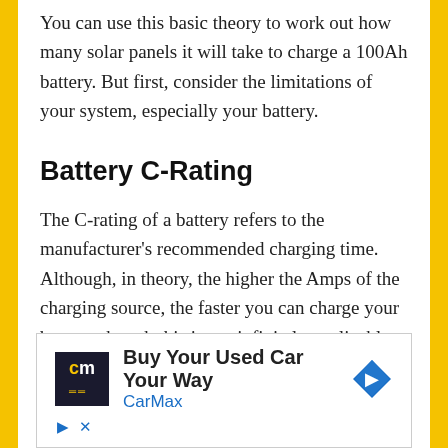You can use this basic theory to work out how many solar panels it will take to charge a 100Ah battery. But first, consider the limitations of your system, especially your battery.
Battery C-Rating
The C-rating of a battery refers to the manufacturer's recommended charging time. Although, in theory, the higher the Amps of the charging source, the faster you can charge your battery, though this is not infinitely applicable. There are real-life limitations that come from the
[Figure (other): Advertisement banner for CarMax: 'Buy Your Used Car Your Way' with CarMax logo (dark background with 'cm' text) and a blue direction arrow icon.]